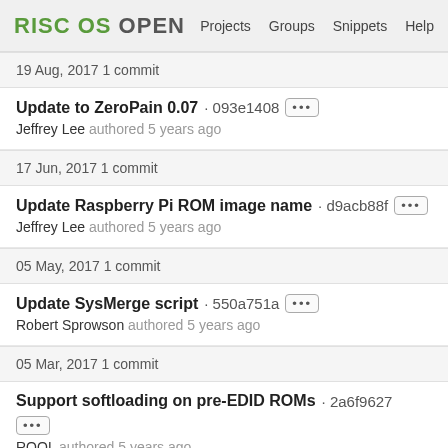RISC OS OPEN  Projects  Groups  Snippets  Help
19 Aug, 2017 1 commit
Update to ZeroPain 0.07 · 093e1408 ···
Jeffrey Lee authored 5 years ago
17 Jun, 2017 1 commit
Update Raspberry Pi ROM image name · d9acb88f ···
Jeffrey Lee authored 5 years ago
05 May, 2017 1 commit
Update SysMerge script · 550a751a ···
Robert Sprowson authored 5 years ago
05 Mar, 2017 1 commit
Support softloading on pre-EDID ROMs · 2a6f9627 ···
ROOL authored 5 years ago